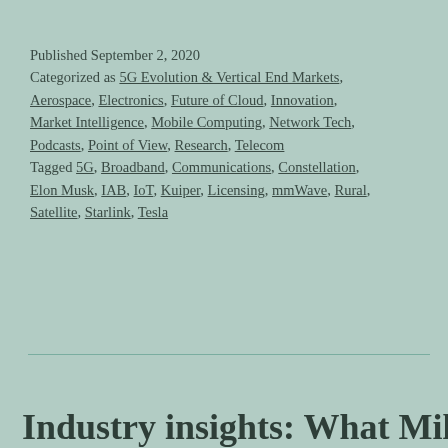Published September 2, 2020
Categorized as 5G Evolution & Vertical End Markets, Aerospace, Electronics, Future of Cloud, Innovation, Market Intelligence, Mobile Computing, Network Tech, Podcasts, Point of View, Research, Telecom
Tagged 5G, Broadband, Communications, Constellation, Elon Musk, IAB, IoT, Kuiper, Licensing, mmWave, Rural, Satellite, Starlink, Tesla
Industry insights: What Mill…